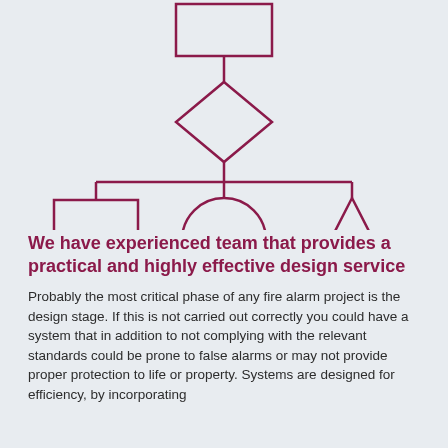[Figure (flowchart): A flowchart/organizational diagram with a rectangle at the top connected by a line to a diamond (decision node) below, which connects to a horizontal bar splitting into three branches: a square (left), a circle (center), and a triangle (right).]
We have experienced team that provides a practical and highly effective design service
Probably the most critical phase of any fire alarm project is the design stage. If this is not carried out correctly you could have a system that in addition to not complying with the relevant standards could be prone to false alarms or may not provide proper protection to life or property. Systems are designed for efficiency, by incorporating